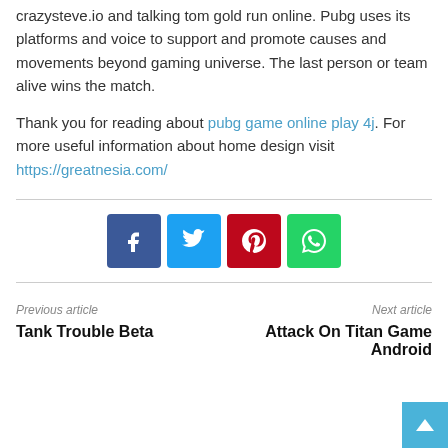crazysteve.io and talking tom gold run online. Pubg uses its platforms and voice to support and promote causes and movements beyond gaming universe. The last person or team alive wins the match.
Thank you for reading about pubg game online play 4j. For more useful information about home design visit https://greatnesia.com/
[Figure (infographic): Social share buttons: Facebook (blue), Twitter (light blue), Pinterest (red), WhatsApp (green)]
Previous article
Tank Trouble Beta
Next article
Attack On Titan Game Android